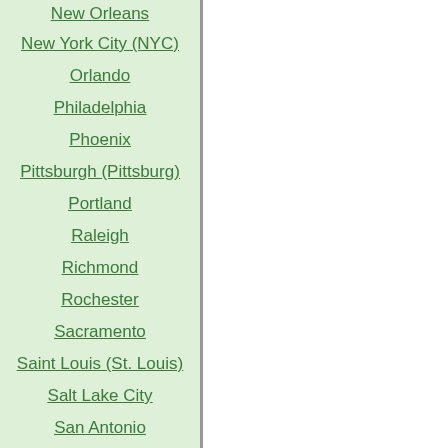New Orleans
New York City (NYC)
Orlando
Philadelphia
Phoenix
Pittsburgh (Pittsburg)
Portland
Raleigh
Richmond
Rochester
Sacramento
Saint Louis (St. Louis)
Salt Lake City
San Antonio
San Diego
San Francisco
San Jose